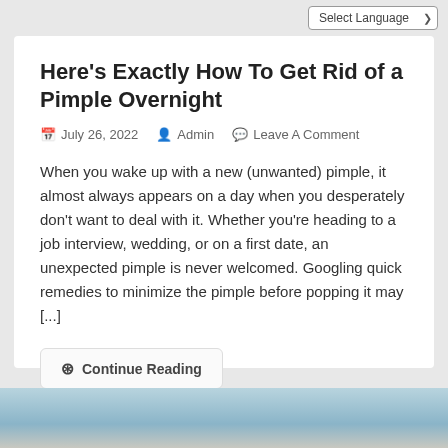Select Language
Here’s Exactly How To Get Rid of a Pimple Overnight
July 26, 2022  Admin  Leave A Comment
When you wake up with a new (unwanted) pimple, it almost always appears on a day when you desperately don’t want to deal with it. Whether you’re heading to a job interview, wedding, or on a first date, an unexpected pimple is never welcomed. Googling quick remedies to minimize the pimple before popping it may [...]
Continue Reading